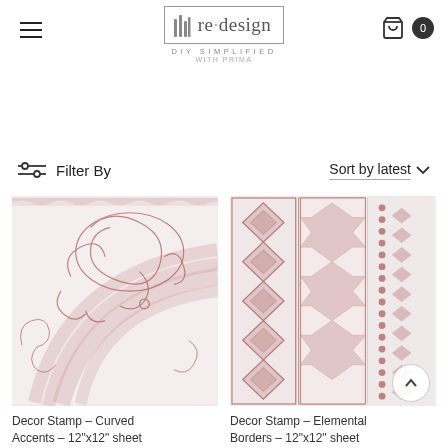re·design WITH PRIMA — DIY SIMPLIFIED
Filter By
Sort by latest
[Figure (photo): Decor stamp product image showing curved ornamental and plaid patterns in dusty rose/mauve on white background]
Decor Stamp – Curved Accents – 12"x12" sheet
[Figure (photo): Decor stamp product image showing elemental border strip patterns in dusty rose/mauve on white background]
Decor Stamp – Elemental Borders – 12"x12" sheet